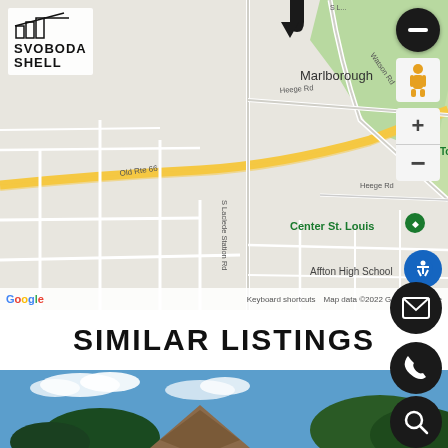[Figure (map): Google Maps view showing Marlborough area in St. Louis with landmarks including Tower Tee Golf, Center St. Louis, Affton High School, Old Rte 66, Watson Rd, Heege Rd, S Laclede Station Rd. Svoboda Shell logo visible top-left. Map controls (zoom, street view) on right side.]
SIMILAR LISTINGS
[Figure (photo): Residential property photo showing a house with blue sky background with trees]